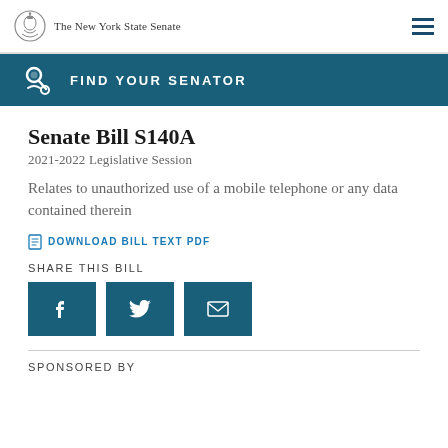The New York State Senate
[Figure (infographic): Find Your Senator banner with search/person icon on teal background]
Senate Bill S140A
2021-2022 Legislative Session
Relates to unauthorized use of a mobile telephone or any data contained therein
DOWNLOAD BILL TEXT PDF
SHARE THIS BILL
[Figure (infographic): Three social share buttons: Facebook (f), Twitter (bird), Email (envelope)]
SPONSORED BY